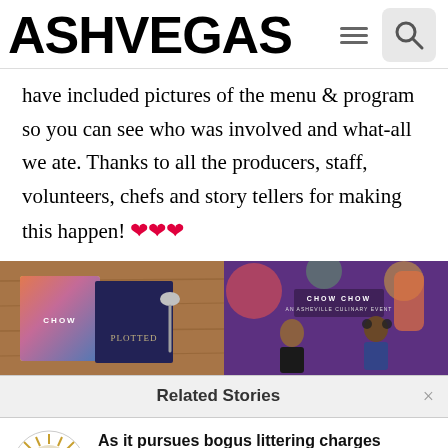ASHVEGAS
have included pictures of the menu & program so you can see who was involved and what-all we ate. Thanks to all the producers, staff, volunteers, chefs and story tellers for making this happen! ❤❤❤
[Figure (photo): Two side-by-side photos: left shows Chow Chow event menu booklet and Plotted booklet on a wooden table; right shows two women presenting at a Chow Chow event stage with colorful backdrop.]
Related Stories
[Figure (logo): Ashvegas circular logo with sunburst design]
As it pursues bogus littering charges against citizens, Asheville trashes ideal of compassionate city